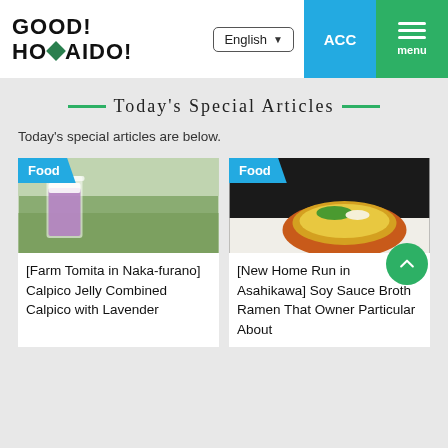GOOD! HOMAIDO!
Today's Special Articles
Today's special articles are below.
[Figure (photo): Food article card showing a lavender-colored Calpico drink with Food tag]
[Farm Tomita in Naka-furano] Calpico Jelly Combined Calpico with Lavender
[Figure (photo): Food article card showing a bowl of soy sauce broth ramen with Food tag]
[New Home Run in Asahikawa] Soy Sauce Broth Ramen That Owner Particular About